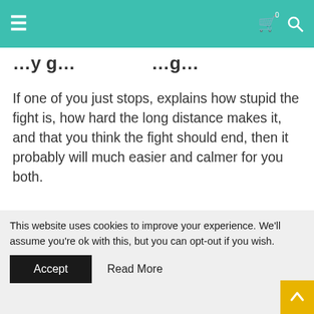Navigation bar with hamburger menu, cart, and search icons
…y g…  …g…
If one of you just stops, explains how stupid the fight is, how hard the long distance makes it, and that you think the fight should end, then it probably will much easier and calmer for you both.
5. They are not intentionally trying to make you mad.
[Figure (photo): Partial photo strip visible at bottom of content area before cookie banner]
This website uses cookies to improve your experience. We'll assume you're ok with this, but you can opt-out if you wish.